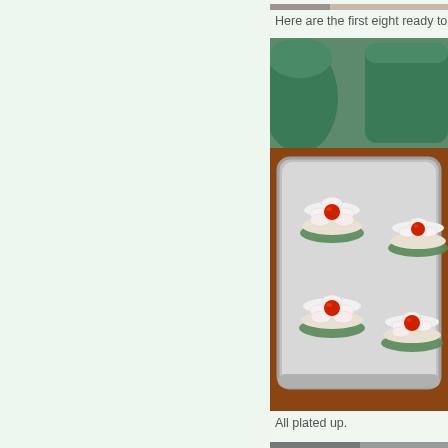[Figure (photo): Partial view of a photo at the very top of the right column, cropped]
Here are the first eight ready to go i
[Figure (photo): Photo of rice cakes topped with arranged radish slices and cherry tomatoes on a metal baking tray, with green containers in background]
All plated up.
[Figure (photo): Bottom strip of another photo, partially visible]